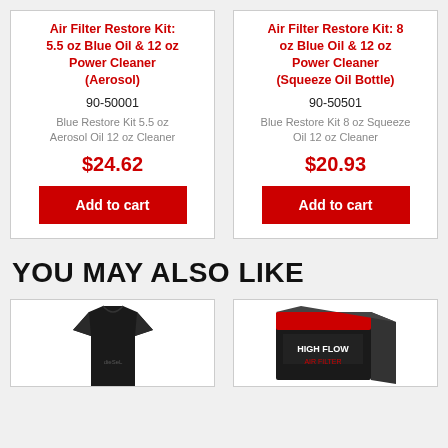Air Filter Restore Kit: 5.5 oz Blue Oil & 12 oz Power Cleaner (Aerosol)
90-50001
Blue Restore Kit 5.5 oz Aerosol Oil 12 oz Cleaner
$24.62
Air Filter Restore Kit: 8 oz Blue Oil & 12 oz Power Cleaner (Squeeze Oil Bottle)
90-50501
Blue Restore Kit 8 oz Squeeze Oil 12 oz Cleaner
$20.93
YOU MAY ALSO LIKE
[Figure (photo): Person wearing a black t-shirt with a logo]
[Figure (photo): A product box with red and black packaging]